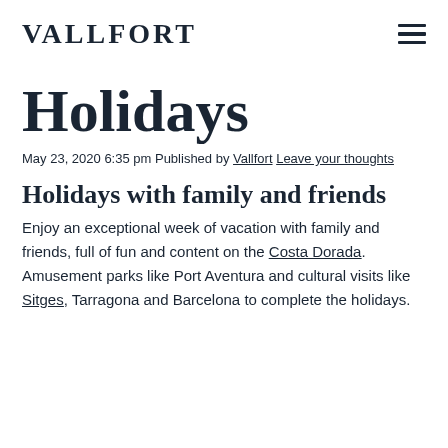VALLFORT
Holidays
May 23, 2020 6:35 pm Published by Vallfort Leave your thoughts
Holidays with family and friends
Enjoy an exceptional week of vacation with family and friends, full of fun and content on the Costa Dorada. Amusement parks like Port Aventura and cultural visits like Sitges, Tarragona and Barcelona to complete the holidays.